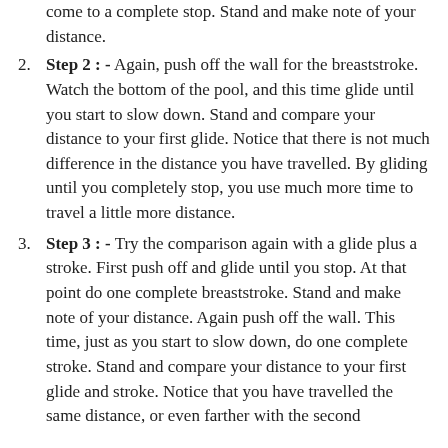come to a complete stop. Stand and make note of your distance.
Step 2 : - Again, push off the wall for the breaststroke. Watch the bottom of the pool, and this time glide until you start to slow down. Stand and compare your distance to your first glide. Notice that there is not much difference in the distance you have travelled. By gliding until you completely stop, you use much more time to travel a little more distance.
Step 3 : - Try the comparison again with a glide plus a stroke. First push off and glide until you stop. At that point do one complete breaststroke. Stand and make note of your distance. Again push off the wall. This time, just as you start to slow down, do one complete stroke. Stand and compare your distance to your first glide and stroke. Notice that you have travelled the same distance, or even farther with the second